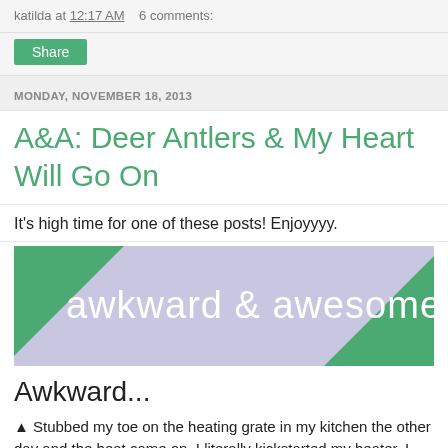katilda at 12:17 AM   6 comments:
Share
MONDAY, NOVEMBER 18, 2013
A&A: Deer Antlers & My Heart Will Go On
It's high time for one of these posts! Enjoyyyy.
[Figure (illustration): Banner image with lavender background, green corner triangles, and white text reading 'awkward & awesome']
Awkward...
▲ Stubbed my toe on the heating grate in my kitchen the other day and the heat came on. I literally kickstarted my heater. I don't think that's supposed to happen.
▲ Spam blog comment planted a link to "door antler velvet